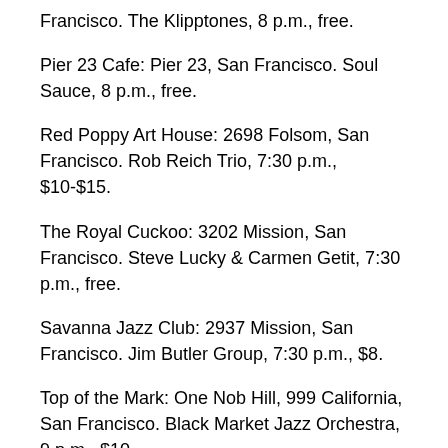Francisco. The Klipptones, 8 p.m., free.
Pier 23 Cafe: Pier 23, San Francisco. Soul Sauce, 8 p.m., free.
Red Poppy Art House: 2698 Folsom, San Francisco. Rob Reich Trio, 7:30 p.m., $10-$15.
The Royal Cuckoo: 3202 Mission, San Francisco. Steve Lucky & Carmen Getit, 7:30 p.m., free.
Savanna Jazz Club: 2937 Mission, San Francisco. Jim Butler Group, 7:30 p.m., $8.
Top of the Mark: One Nob Hill, 999 California, San Francisco. Black Market Jazz Orchestra, 9 p.m., $10.